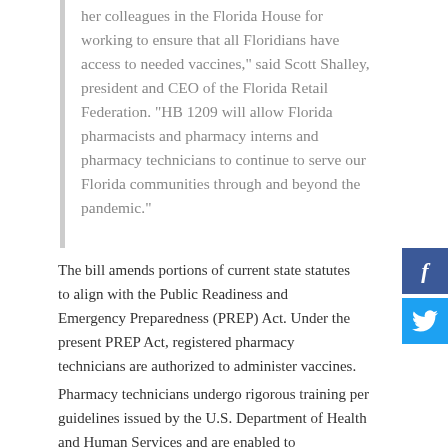her colleagues in the Florida House for working to ensure that all Floridians have access to needed vaccines," said Scott Shalley, president and CEO of the Florida Retail Federation. "HB 1209 will allow Florida pharmacists and pharmacy interns and pharmacy technicians to continue to serve our Florida communities through and beyond the pandemic."
The bill amends portions of current state statutes to align with the Public Readiness and Emergency Preparedness (PREP) Act. Under the present PREP Act, registered pharmacy technicians are authorized to administer vaccines.
Pharmacy technicians undergo rigorous training per guidelines issued by the U.S. Department of Health and Human Services and are enabled to...